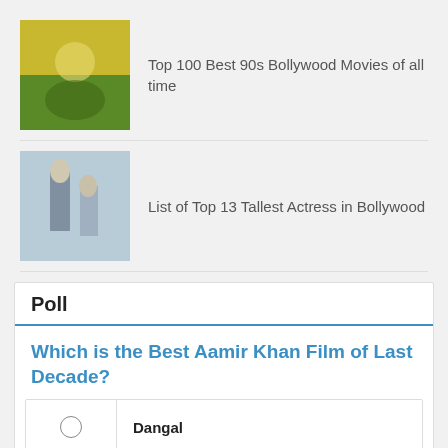Top 100 Best 90s Bollywood Movies of all time
List of Top 13 Tallest Actress in Bollywood
Poll
Which is the Best Aamir Khan Film of Last Decade?
Dangal
Mangal Pandey